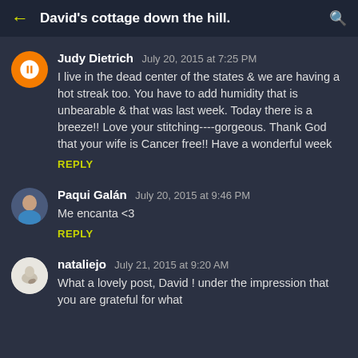David's cottage down the hill.
Judy Dietrich  July 20, 2015 at 7:25 PM
I live in the dead center of the states & we are having a hot streak too. You have to add humidity that is unbearable & that was last week. Today there is a breeze!! Love your stitching----gorgeous. Thank God that your wife is Cancer free!! Have a wonderful week
REPLY
Paqui Galán  July 20, 2015 at 9:46 PM
Me encanta <3
REPLY
nataliejo  July 21, 2015 at 9:20 AM
What a lovely post, David ! under the impression that you are grateful for what